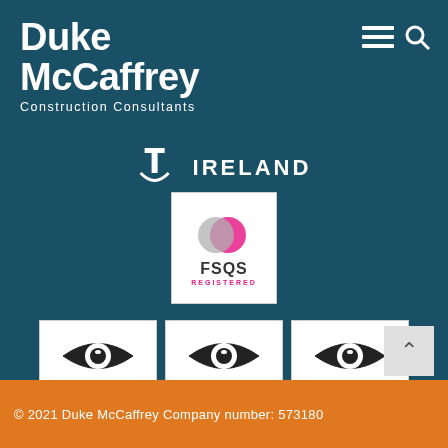Duke McCaffrey
Construction Consultants
IRELAND
[Figure (logo): FSQS Registered logo — two overlapping circles in pink and grey above text FSQS REGISTERED]
[Figure (logo): NSAI Certified — ENVIRONMENT, I.S. EN ISO 14001:2015, NSAI Certified]
[Figure (logo): NSAI Certified — HEALTH & SAFETY, I.S. ISO 45001:2018, NSAI Certified]
[Figure (logo): NSAI Certified — QUALITY, I.S. EN ISO 9001:2015, NSAI Certified]
© 2021 Duke McCaffrey Company number: 573180